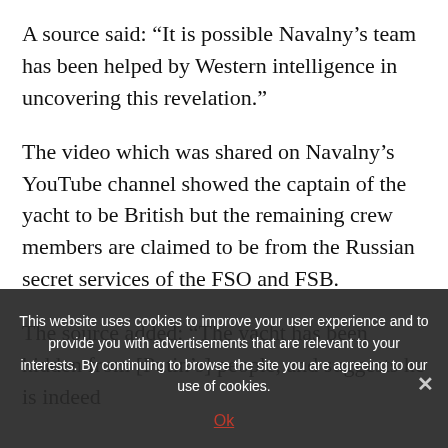A source said: “It is possible Navalny’s team has been helped by Western intelligence in uncovering this revelation.”
The video which was shared on Navalny’s YouTube channel showed the captain of the yacht to be British but the remaining crew members are claimed to be from the Russian secret services of the FSO and FSB.
The source added: “The yacht has been hidden from [Putin’s] people, and suggests he is indeed
This website uses cookies to improve your user experience and to provide you with advertisements that are relevant to your interests. By continuing to browse the site you are agreeing to our use of cookies.
Ok